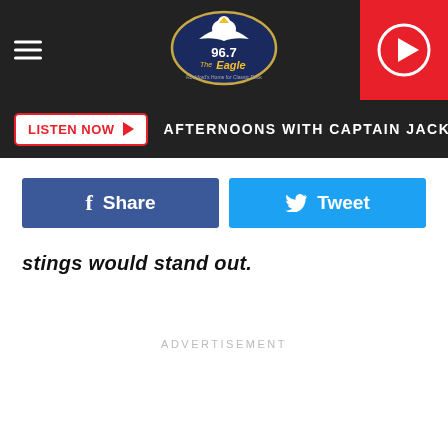96.7 The Eagle - LISTEN NOW - AFTERNOONS WITH CAPTAIN JACK
[Figure (logo): 96.7 The Eagle radio station logo with eagle graphic]
Share
Tweet
stings would stand out.
ADVERTISEMENT